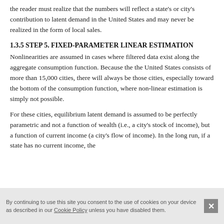the reader must realize that the numbers will reflect a state's or city's contribution to latent demand in the United States and may never be realized in the form of local sales.
1.3.5 STEP 5. FIXED-PARAMETER LINEAR ESTIMATION
Nonlinearities are assumed in cases where filtered data exist along the aggregate consumption function. Because the the United States consists of more than 15,000 cities, there will always be those cities, especially toward the bottom of the consumption function, where non-linear estimation is simply not possible.
For these cities, equilibrium latent demand is assumed to be perfectly parametric and not a function of wealth (i.e., a city's stock of income), but a function of current income (a city's flow of income). In the long run, if a state has no current income, the
By continuing to use this site you consent to the use of cookies on your device as described in our Cookie Policy unless you have disabled them.